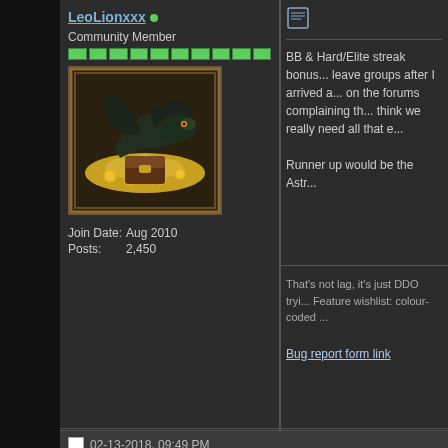LeoLionxxx
Community Member
[Figure (photo): Avatar image of a dragon on gold coins with a treasure chest, framed in a dark ornate border]
| Join Date: | Aug 2010 |
| Posts: | 2,450 |
BB & Hard/Elite streak bonus...leave groups after I arrived a...on the forums complaining th...think we really need all that e...
Runner up would be the Astr...
That's not lag, it's just DDO tryi...Feature wishlist: colour-coded ...
Bug report form link
02-13-2018, 09:49 PM
slarden
Bounty Hunter
[Figure (photo): Avatar image with decorative border showing a snake or serpent symbol]
Reaper trees. I know you sai...